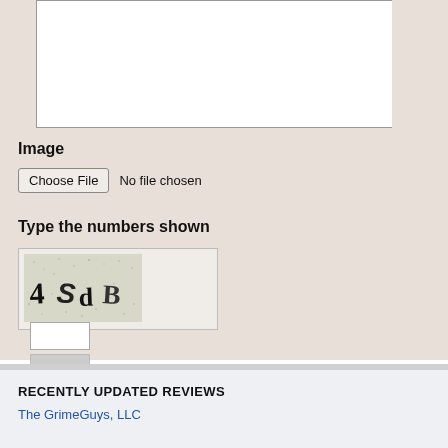[Figure (screenshot): A web form textarea (empty, white background) at the top of the page, within a beige/tan form area.]
Image
Choose File  No file chosen
Type the numbers shown
[Figure (screenshot): A CAPTCHA image showing the text '4SdB' in distorted font on a noisy/speckled background, with an input box to the right.]
RECENTLY UPDATED REVIEWS
The GrimeGuys, LLC